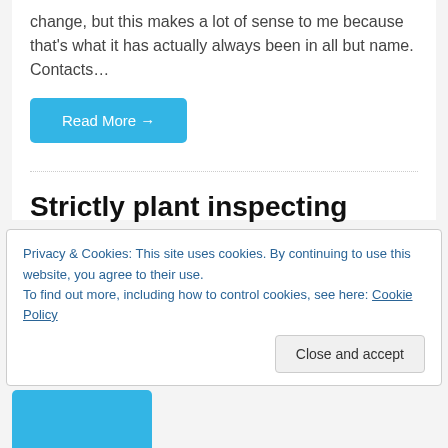change, but this makes a lot of sense to me because that's what it has actually always been in all but name. Contacts…
Read More →
Strictly plant inspecting
7th October 2013  Clothes, Shoes, and Jewellery, Diary, Out & About, Photos  Leave a Comment
Privacy & Cookies: This site uses cookies. By continuing to use this website, you agree to their use.
To find out more, including how to control cookies, see here: Cookie Policy
Close and accept